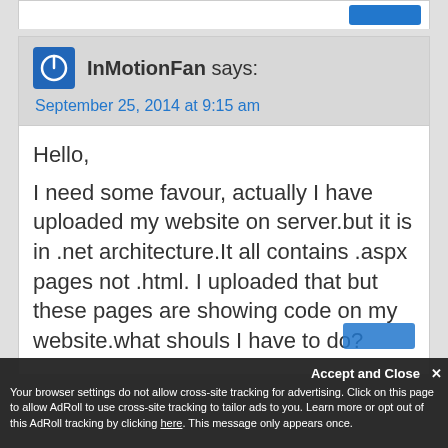InMotionFan says:
September 25, 2014 at 9:15 am
Hello,
I need some favour, actually I have uploaded my website on server.but it is in .net architecture.It all contains .aspx pages not .html. I uploaded that but these pages are showing code on my website.what shouls I have to do?
Accept and Close
Your browser settings do not allow cross-site tracking for advertising. Click on this page to allow AdRoll to use cross-site tracking to tailor ads to you. Learn more or opt out of this AdRoll tracking by clicking here. This message only appears once.